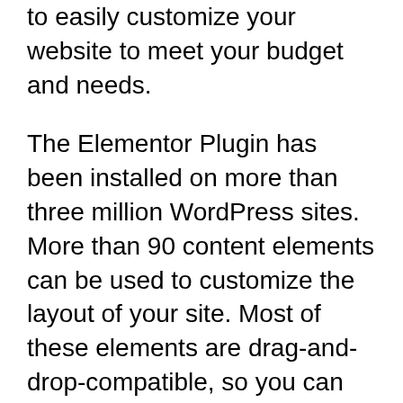to easily customize your website to meet your budget and needs.
The Elementor Plugin has been installed on more than three million WordPress sites. More than 90 content elements can be used to customize the layout of your site. Most of these elements are drag-and-drop-compatible, so you can customize your site using them. Once you have done this, you can customize your website. Elementor also has the functionality to integrate with your theme. You can also learn from the community if you are unsure where to start.
Using Elementor is a great option for people who want to create beautiful webpages. It can be difficult to create a website from